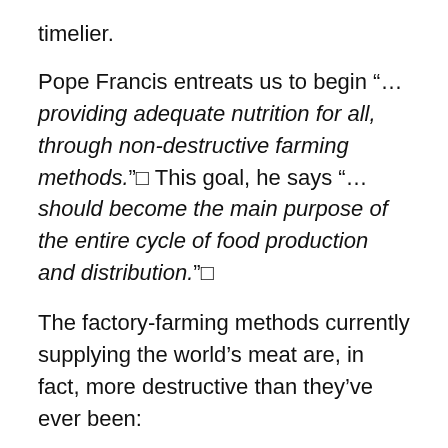timelier.
Pope Francis entreats us to begin “… providing adequate nutrition for all, through non-destructive farming methods.”□ This goal, he says “… should become the main purpose of the entire cycle of food production and distribution.”□
The factory-farming methods currently supplying the world’s meat are, in fact, more destructive than they’ve ever been:
They’re destroying rainforests around the globe at an unprecedented rate.
They force workers – amongst society’s